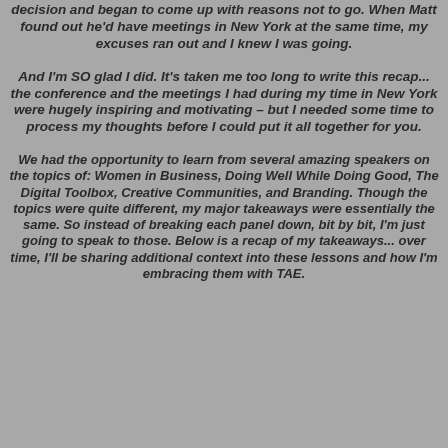decision and began to come up with reasons not to go. When Matt found out he'd have meetings in New York at the same time, my excuses ran out and I knew I was going.
And I'm SO glad I did. It's taken me too long to write this recap... the conference and the meetings I had during my time in New York were hugely inspiring and motivating – but I needed some time to process my thoughts before I could put it all together for you.
We had the opportunity to learn from several amazing speakers on the topics of: Women in Business, Doing Well While Doing Good, The Digital Toolbox, Creative Communities, and Branding. Though the topics were quite different, my major takeaways were essentially the same. So instead of breaking each panel down, bit by bit, I'm just going to speak to those. Below is a recap of my takeaways... over time, I'll be sharing additional context into these lessons and how I'm embracing them with TAE.